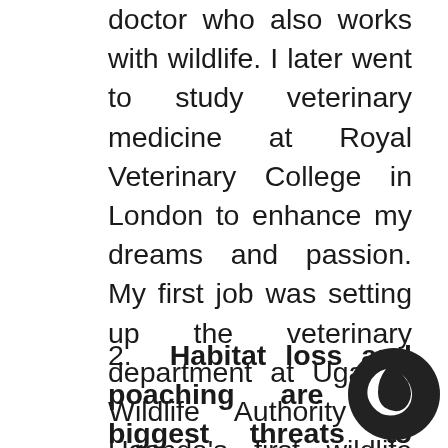doctor who also works with wildlife. I later went to study veterinary medicine at Royal Veterinary College in London to enhance my dreams and passion. My first job was setting up the veterinary department at Uganda Wildlife Authority as Uganda's first wildlife vet. When I led a team that investigated a fatal scabies skin disease outbreak in then critically endangered mountain gorillas traced to the Bwindi local community, we founded Conservation Through Public Health (CTPH) NGO a few years later to improve the health of people and wildlife together.
2. Habitat loss and poaching are the biggest threats to mountain gorilla population. As a wildlife conservation enthusiast, just how huge is the challenge